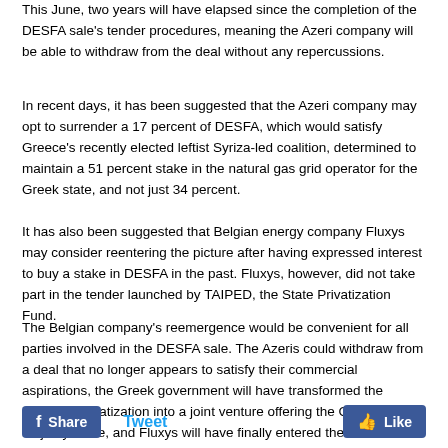This June, two years will have elapsed since the completion of the DESFA sale's tender procedures, meaning the Azeri company will be able to withdraw from the deal without any repercussions.
In recent days, it has been suggested that the Azeri company may opt to surrender a 17 percent of DESFA, which would satisfy Greece's recently elected leftist Syriza-led coalition, determined to maintain a 51 percent stake in the natural gas grid operator for the Greek state, and not just 34 percent.
It has also been suggested that Belgian energy company Fluxys may consider reentering the picture after having expressed interest to buy a stake in DESFA in the past. Fluxys, however, did not take part in the tender launched by TAIPED, the State Privatization Fund.
The Belgian company's reemergence would be convenient for all parties involved in the DESFA sale. The Azeris could withdraw from a deal that no longer appears to satisfy their commercial aspirations, the Greek government will have transformed the intended privatization into a joint venture offering the Greek state a majority stake, and Fluxys will have finally entered the Greek energy market. The Belgian company has already acquired a 19 percent stake in the TAP (Trans-Adriatic Pipeline) project, to transmit Azeri natural gas to the EU via Greece.
Share   Tweet   Like